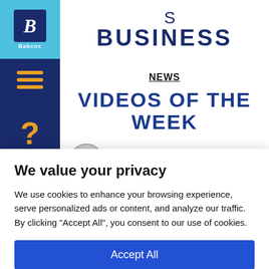BodyShop Business
NEWS
VIDEOS OF THE WEEK
By BodyShop Business Staff Writers
We value your privacy
We use cookies to enhance your browsing experience, serve personalized ads or content, and analyze our traffic. By clicking "Accept All", you consent to our use of cookies.
Accept All
Customize
Reject All